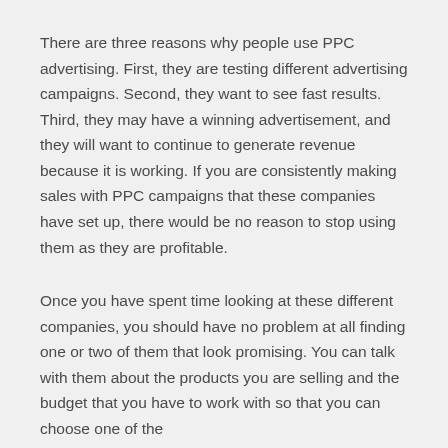There are three reasons why people use PPC advertising. First, they are testing different advertising campaigns. Second, they want to see fast results. Third, they may have a winning advertisement, and they will want to continue to generate revenue because it is working. If you are consistently making sales with PPC campaigns that these companies have set up, there would be no reason to stop using them as they are profitable.
Once you have spent time looking at these different companies, you should have no problem at all finding one or two of them that look promising. You can talk with them about the products you are selling and the budget that you have to work with so that you can choose one of the